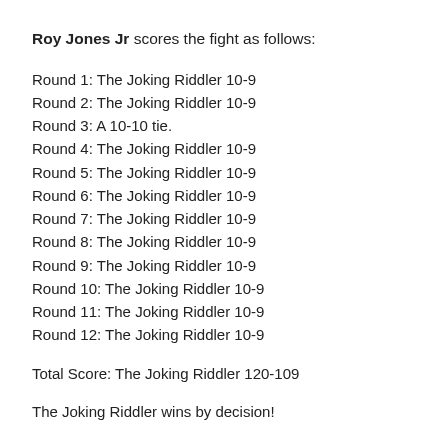Roy Jones Jr scores the fight as follows:
Round 1: The Joking Riddler 10-9
Round 2: The Joking Riddler 10-9
Round 3: A 10-10 tie.
Round 4: The Joking Riddler 10-9
Round 5: The Joking Riddler 10-9
Round 6: The Joking Riddler 10-9
Round 7: The Joking Riddler 10-9
Round 8: The Joking Riddler 10-9
Round 9: The Joking Riddler 10-9
Round 10: The Joking Riddler 10-9
Round 11: The Joking Riddler 10-9
Round 12: The Joking Riddler 10-9
Total Score: The Joking Riddler 120-109
The Joking Riddler wins by decision!